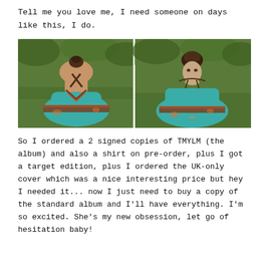Tell me you love me, I need someone on days like this, I do.
[Figure (photo): Two photos side by side of a young woman outdoors on grass wearing a teal/turquoise backless halter dress with decorative trim. Left photo shows her from behind seated. Right photo shows her facing the camera resting her chin on her hands.]
So I ordered a 2 signed copies of TMYLM (the album) and also a shirt on pre-order, plus I got a target edition, plus I ordered the UK-only cover which was a nice interesting price but hey I needed it... now I just need to buy a copy of the standard album and I'll have everything. I'm so excited. She's my new obsession, let go of hesitation baby!